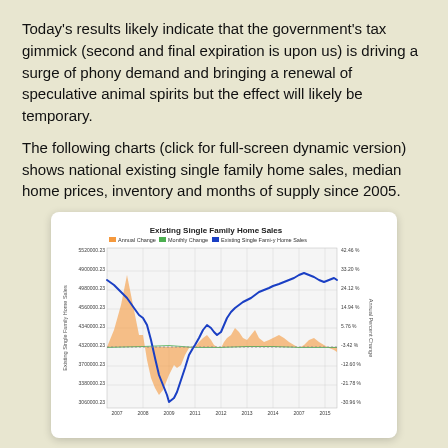Today's results likely indicate that the government's tax gimmick (second and final expiration is upon us) is driving a surge of phony demand and bringing a renewal of speculative animal spirits but the effect will likely be temporary.
The following charts (click for full-screen dynamic version) shows national existing single family home sales, median home prices, inventory and months of supply since 2005.
[Figure (continuous-plot): A multi-series continuous line and area chart showing Existing Single Family Home Sales on the left y-axis and Annual Percent Change on the right y-axis, from 2007 to 2015. Three series: Annual Change (orange area), Monthly Change (green area), Existing Single Family Home Sales (blue line). Left axis ranges from approximately 3,360,000 to 5,520,000; right axis from about -30.99% to 42.46%.]